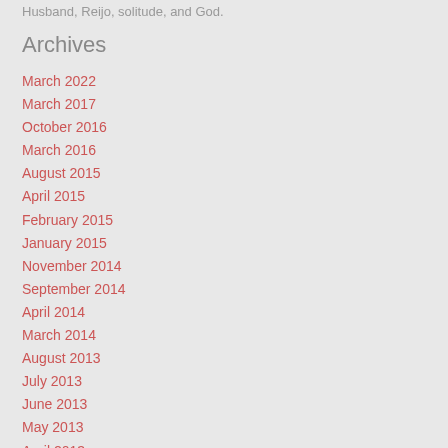Husband, Reijo, solitude, and God.
Archives
March 2022
March 2017
October 2016
March 2016
August 2015
April 2015
February 2015
January 2015
November 2014
September 2014
April 2014
March 2014
August 2013
July 2013
June 2013
May 2013
April 2013